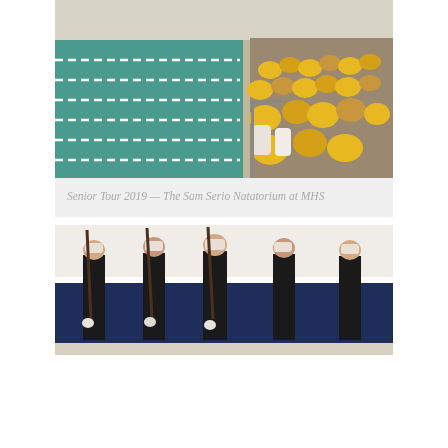[Figure (photo): Interior view of a natatorium/swimming pool facility. People wearing yellow shirts are seated in bleachers on the right side, viewed from above. The pool lanes are visible on the left with lane dividers. A glass ceiling and large windows are visible above.]
Senior Tour 2019 — The Sam Serio Natatorium at MHS
[Figure (photo): Military honor guard of Marines in dress blues uniforms holding rifles, standing at attention in front of a navy blue wall with white stripes. Five Marines are visible.]